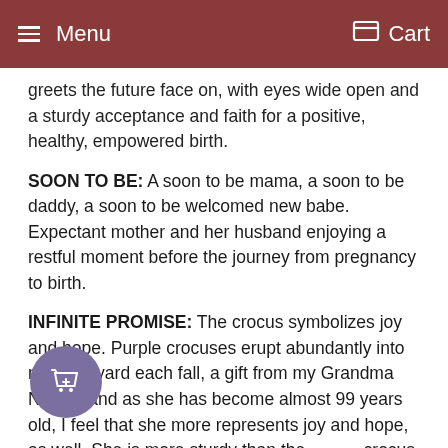Menu  Cart
greets the future face on, with eyes wide open and a sturdy acceptance and faith for a positive, healthy, empowered birth.
SOON TO BE: A soon to be mama, a soon to be daddy, a soon to be welcomed new babe. Expectant mother and her husband enjoying a restful moment before the journey from pregnancy to birth.
INFINITE PROMISE: The crocus symbolizes joy and hope. Purple crocuses erupt abundantly into my front yard each fall, a gift from my Grandma Neva – and as she has become almost 99 years old, I feel that she more represents joy and hope, as well. She is more sturdy than the crocus, and both have beautiful faces.
The crocuses in my yard stop the passersby, some for photos. As in crocuses, so a addition to my charm and